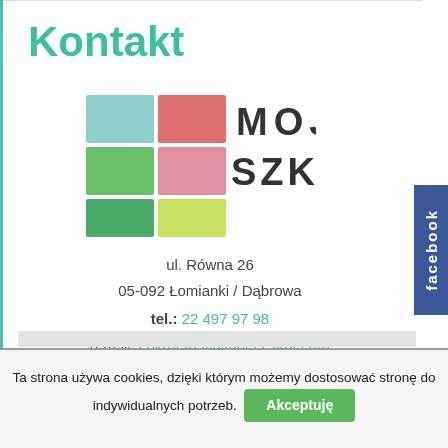Kontakt
[Figure (logo): Moja Szkoła school logo — 2x3 grid of colored squares (teal, pink/red, green, pink, green, yellow-green) with letters M, O, J, A, S, Z, K, O, Ł, A in dark text]
ul. Równa 26
05-092 Łomianki / Dąbrowa
tel.: 22 497 97 98
e-mail: sekretariat@moja-szkola.org
Ta strona używa cookies, dzięki którym możemy dostosować stronę do indywidualnych potrzeb. Akceptuję